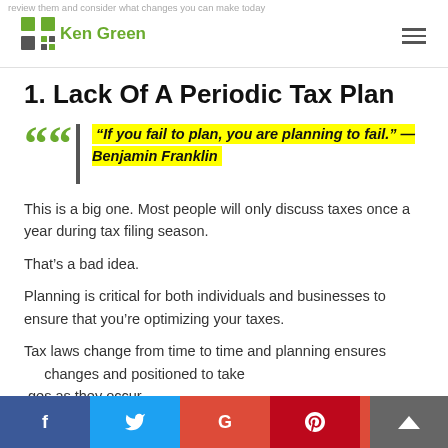review them and consider what changes you can make today
[Figure (logo): KenGreen logo with diamond/square icon and text 'Ken Green']
1. Lack Of A Periodic Tax Plan
“If you fail to plan, you are planning to fail.” — Benjamin Franklin
This is a big one. Most people will only discuss taxes once a year during tax filing season.
That’s a bad idea.
Planning is critical for both individuals and businesses to ensure that you’re optimizing your taxes.
Tax laws change from time to time and planning ensures changes and positioned to take ges as they occur.
f  Twitter  G  Pinterest  ↑